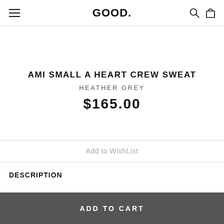GOOD.
AMI SMALL A HEART CREW SWEAT
HEATHER GREY
$165.00
Add to WishList
DESCRIPTION
ADD TO CART